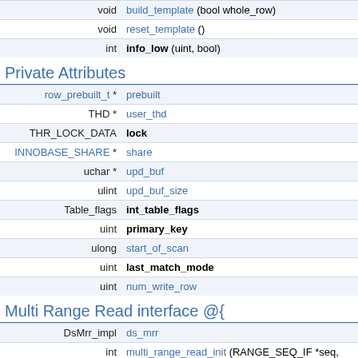| type | name |
| --- | --- |
| void | build_template (bool whole_row) |
| void | reset_template () |
| int | info_low (uint, bool) |
Private Attributes
| type | name |
| --- | --- |
| row_prebuilt_t * | prebuilt |
| THD * | user_thd |
| THR_LOCK_DATA | lock |
| INNOBASE_SHARE * | share |
| uchar * | upd_buf |
| ulint | upd_buf_size |
| Table_flags | int_table_flags |
| uint | primary_key |
| ulong | start_of_scan |
| uint | last_match_mode |
| uint | num_write_row |
Multi Range Read interface @{
| type | name |
| --- | --- |
| DsMrr_impl | ds_mrr |
| int | multi_range_read_init (RANGE_SEQ_IF *seq, void *seq_init_param, uint n_ranges, uint mode, |